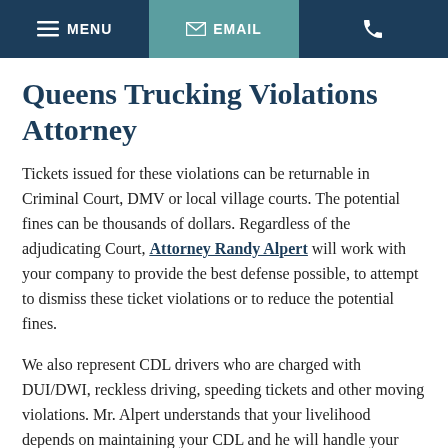MENU  EMAIL  [phone]
Queens Trucking Violations Attorney
Tickets issued for these violations can be returnable in Criminal Court, DMV or local village courts. The potential fines can be thousands of dollars. Regardless of the adjudicating Court, Attorney Randy Alpert will work with your company to provide the best defense possible, to attempt to dismiss these ticket violations or to reduce the potential fines.
We also represent CDL drivers who are charged with DUI/DWI, reckless driving, speeding tickets and other moving violations. Mr. Alpert understands that your livelihood depends on maintaining your CDL and he will handle your defense with the utmost care. He is